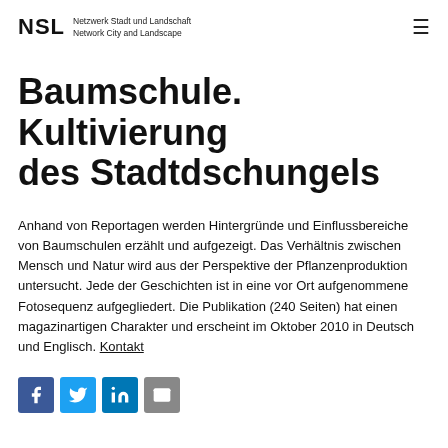NSL Netzwerk Stadt und Landschaft Network City and Landscape
Baumschule. Kultivierung des Stadtdschungels
Anhand von Reportagen werden Hintergründe und Einflussbereiche von Baumschulen erzählt und aufgezeigt. Das Verhältnis zwischen Mensch und Natur wird aus der Perspektive der Pflanzenproduktion untersucht. Jede der Geschichten ist in eine vor Ort aufgenommene Fotosequenz aufgegliedert. Die Publikation (240 Seiten) hat einen magazinartigen Charakter und erscheint im Oktober 2010 in Deutsch und Englisch. Kontakt
[Figure (infographic): Social media sharing icons: Facebook (blue), Twitter (light blue), LinkedIn (dark blue), Email (grey)]